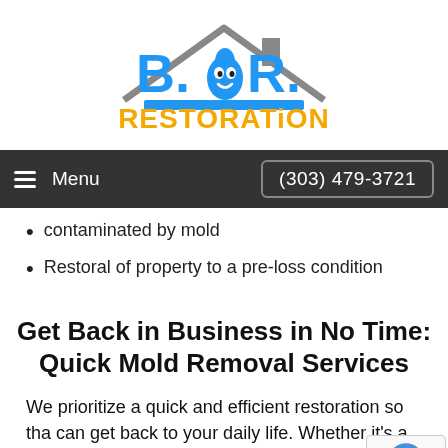[Figure (logo): B.O.R. Restoration logo with blue house outline, cartoon water drop character, blue text 'B.O.R.' and orange text 'RESTORATION']
Menu  (303) 479-3721
contaminated by mold
Restoral of property to a pre-loss condition
Get Back in Business in No Time: Quick Mold Removal Services
We prioritize a quick and efficient restoration so tha can get back to your daily life. Whether it's a home environment, the experts at Best Option Restoration will